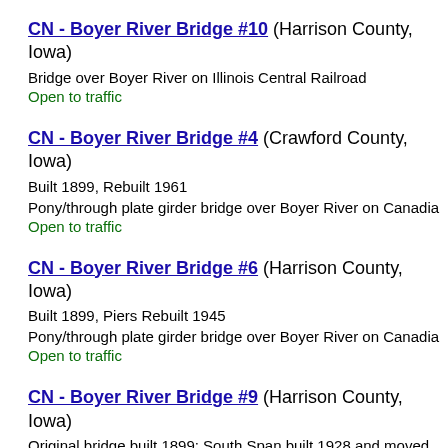CN - Boyer River Bridge #10 (Harrison County, Iowa)
Bridge over Boyer River on Illinois Central Railroad
Open to traffic
CN - Boyer River Bridge #4 (Crawford County, Iowa)
Built 1899, Rebuilt 1961
Pony/through plate girder bridge over Boyer River on Canadia
Open to traffic
CN - Boyer River Bridge #6 (Harrison County, Iowa)
Built 1899, Piers Rebuilt 1945
Pony/through plate girder bridge over Boyer River on Canadia
Open to traffic
CN - Boyer River Bridge #9 (Harrison County, Iowa)
Original bridge built 1899; South Span built 1928 and moved here 19
Through plate girder Bridge over Boyer River on Canadian Na
Open to traffic
CN - Boyer River Bridge (Near Denison) (Crawford County,
Built 1899, Piers Rebuilt 1948